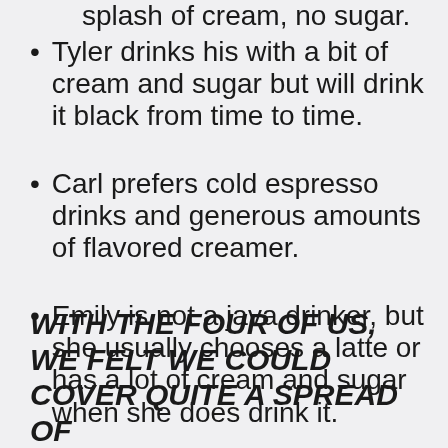splash of cream, no sugar.
Tyler drinks his with a bit of cream and sugar but will drink it black from time to time.
Carl prefers cold espresso drinks and generous amounts of flavored creamer.
Emily is not a java drinker, but she usually chooses a latte or has a lot of cream and sugar when she does drink it.
WITH THE FOUR OF US, WE FELT WE COULD COVER QUITE A SPREAD OF